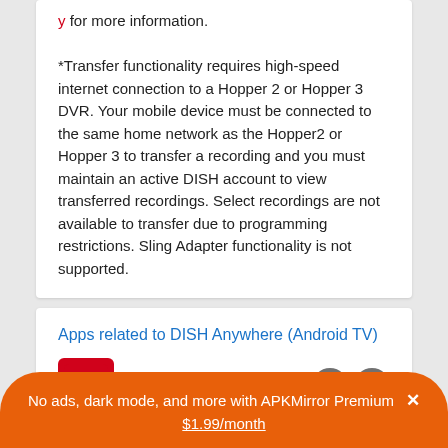y for more information. *Transfer functionality requires high-speed internet connection to a Hopper 2 or Hopper 3 DVR. Your mobile device must be connected to the same home network as the Hopper2 or Hopper 3 to transfer a recording and you must maintain an active DISH account to view transferred recordings. Select recordings are not available to transfer due to programming restrictions. Sling Adapter functionality is not supported.
Apps related to DISH Anywhere (Android TV)
DISH Anywhere
Advertisement
No ads, dark mode, and more with APKMirror Premium  $1.99/month